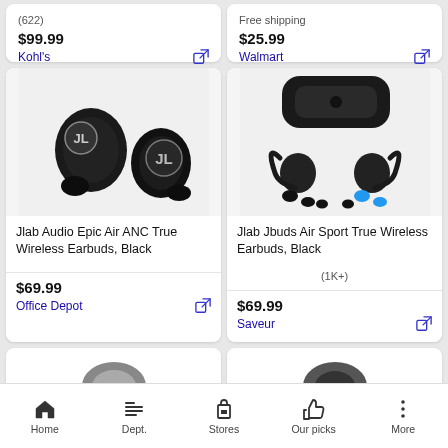(622)
Free shipping
$99.99
Kohl's
$25.99
Walmart
[Figure (photo): JLab Audio Epic Air ANC True Wireless Earbuds in black]
[Figure (photo): JLab Jbuds Air Sport True Wireless Earbuds in black with charging case and ear tips]
Jlab Audio Epic Air ANC True Wireless Earbuds, Black
Jlab Jbuds Air Sport True Wireless Earbuds, Black
(1K+)
$69.99
Office Depot
$69.99
Saveur
Home  Dept.  Stores  Our picks  More